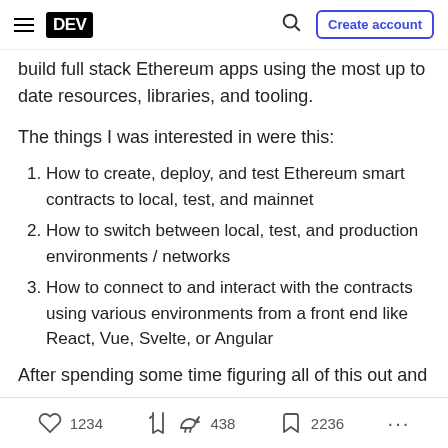DEV | Create account
build full stack Ethereum apps using the most up to date resources, libraries, and tooling.
The things I was interested in were this:
How to create, deploy, and test Ethereum smart contracts to local, test, and mainnet
How to switch between local, test, and production environments / networks
How to connect to and interact with the contracts using various environments from a front end like React, Vue, Svelte, or Angular
After spending some time figuring all of this out and
1234  438  2236  ...